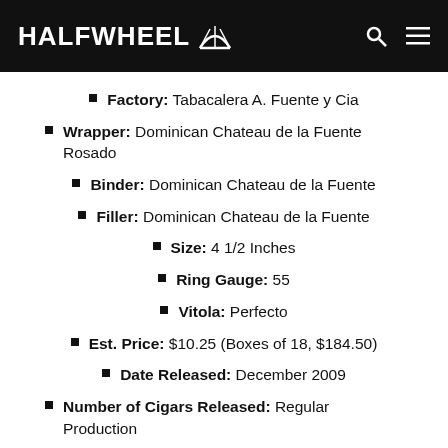HALFWHEEL
Factory: Tabacalera A. Fuente y Cia
Wrapper: Dominican Chateau de la Fuente Rosado
Binder: Dominican Chateau de la Fuente
Filler: Dominican Chateau de la Fuente
Size: 4 1/2 Inches
Ring Gauge: 55
Vitola: Perfecto
Est. Price: $10.25 (Boxes of 18, $184.50)
Date Released: December 2009
Number of Cigars Released: Regular Production